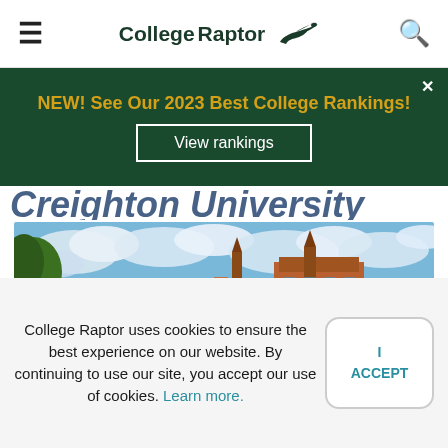CollegeRaptor
NEW! See Our 2023 Best College Rankings!
View rankings
Creighton University
[Figure (photo): University building with Gothic architecture tower against a blue cloudy sky, with trees on the left]
College Raptor uses cookies to ensure the best experience on our website. By continuing to use our site, you accept our use of cookies. Learn more.